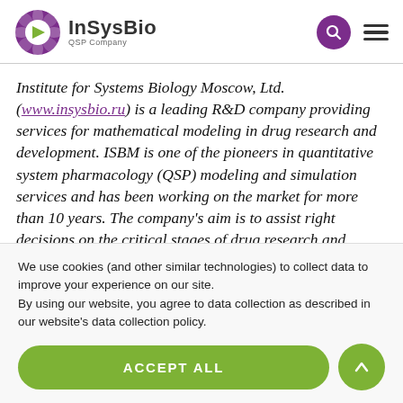InSysBio QSP Company
Institute for Systems Biology Moscow, Ltd. (www.insysbio.ru) is a leading R&D company providing services for mathematical modeling in drug research and development. ISBM is one of the pioneers in quantitative system pharmacology (QSP) modeling and simulation services and has been working on the market for more than 10 years. The company's aim is to assist right decisions on the critical stages of drug research and development. ISBM team continuously
We use cookies (and other similar technologies) to collect data to improve your experience on our site.
By using our website, you agree to data collection as described in our website's data collection policy.
ACCEPT ALL